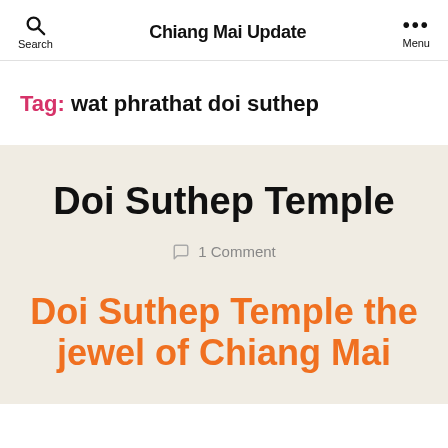Search | Chiang Mai Update | Menu
Tag: wat phrathat doi suthep
Doi Suthep Temple
1 Comment
Doi Suthep Temple the jewel of Chiang Mai